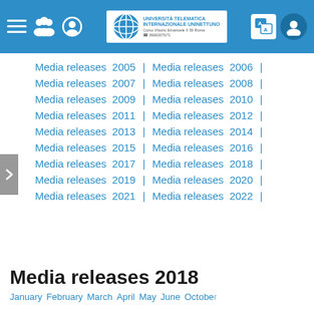Università Telematica Internazionale UNINETTUNO – Corso Vittorio Emanuele II 39 Roma – 0669207671
Media releases  2005 | Media releases  2006 |
Media releases  2007 | Media releases  2008 |
Media releases  2009 | Media releases  2010 |
Media releases  2011 | Media releases  2012 |
Media releases  2013 | Media releases  2014 |
Media releases  2015 | Media releases  2016 |
Media releases  2017 | Media releases  2018 |
Media releases  2019 | Media releases  2020 |
Media releases  2021 | Media releases  2022 |
Media releases 2018
January  February  March  April  May  June  October